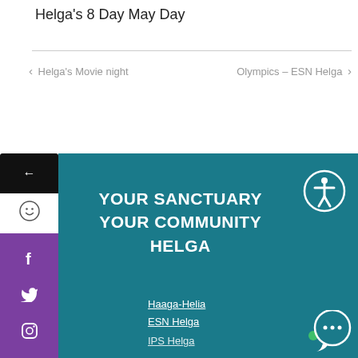Helga's 8 Day May Day
< Helga's Movie night
Olympics – ESN Helga >
[Figure (screenshot): Website footer section with teal background showing 'YOUR SANCTUARY YOUR COMMUNITY HELGA' text, purple social media sidebar with Facebook, Twitter, Instagram icons, black back button tab, accessibility icon, and footer links to Haaga-Helia, ESN Helga, IPS Helga with chat bubble icon in bottom right.]
Haaga-Helia
ESN Helga
IPS Helga